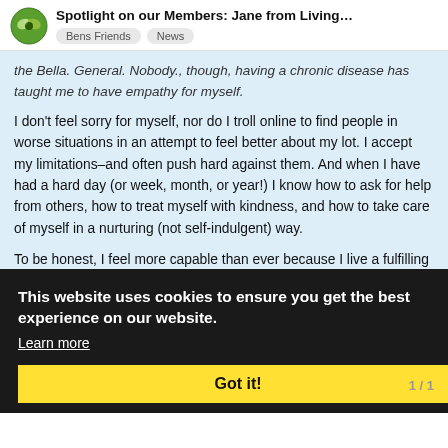Spotlight on our Members: Jane from Living...
the Bella. General. Nobody., though, having a chronic disease has taught me to have empathy for myself.
I don't feel sorry for myself, nor do I troll online to find people in worse situations in an attempt to feel better about my lot. I accept my limitations–and often push hard against them. And when I have had a hard day (or week, month, or year!) I know how to ask for help from others, how to treat myself with kindness, and how to take care of myself in a nurturing (not self-indulgent) way.
To be honest, I feel more capable than ever because I live a fulfilling life, work a demanding 40+ hour a week job, have a rewarding personal life, and yet I can still find time to have a chronic illness! I'm not saying it's easy, but it's not all bad.
Spotlight: So how did you discover Ben's Friends?
Like almost every other rare disorder patient, I almost immediately went online and started Google searching before I found Ben's Friends. Sometimes
This website uses cookies to ensure you get the best experience on our website.
Learn more
Got it!
1 / 1